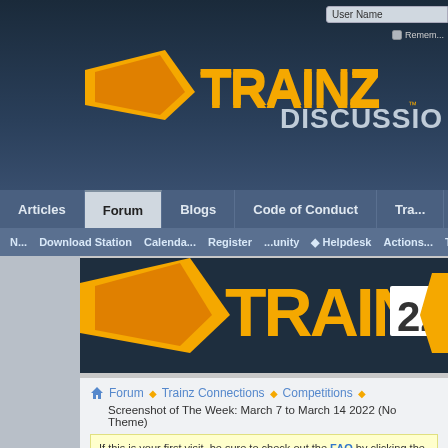[Figure (screenshot): Trainz Discussion Forum website header with logo, navigation bar including Articles, Forum (active), Blogs, Code of Conduct tabs, sub-navigation with Download Station, Register, Helpdesk, Trainz Store links, Trainz 22 banner, breadcrumb navigation, thread title, first-visit notice with FAQ link, page 2 of 3 navigation, and thread title link.]
User Name
Remember
TRAINZ DISCUSSION
Articles
Forum
Blogs
Code of Conduct
Download Station | Register | Helpdesk | Trainz Store
[Figure (logo): Trainz 22 logo banner]
Forum > Trainz Connections > Competitions
Screenshot of The Week: March 7 to March 14 2022 (No Theme)
If this is your first visit, be sure to check out the FAQ by clicking the link a... before you can post: click the register link above to proceed. To start view... you want to visit from the selection below.
Page 2 of 3
Thread: Screenshot of The Week: March 7 to March 14 2022